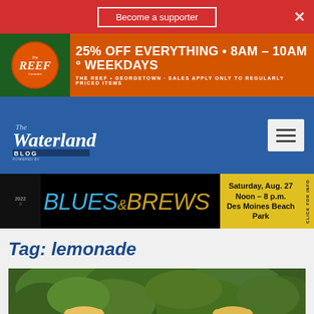Become a supporter
[Figure (infographic): The Reef Cannabis advertisement banner: 25% OFF EVERYTHING 8AM - 10AM WEEKDAYS. THE REEF GEORGETOWN. SALES APPLY ONLY TO REGULARLY PRICED ITEMS.]
[Figure (logo): Waterland Blog logo with hamburger menu button on blue navigation bar]
[Figure (infographic): Blues and Brews 2022 event banner: Saturday, Aug. 27, Noon - 8 p.m., Des Moines Beach Park. CLICK FOR INFO.]
Tag: lemonade
[Figure (photo): Photo of two blonde children outdoors with trees in background. English language selector visible in bottom right.]